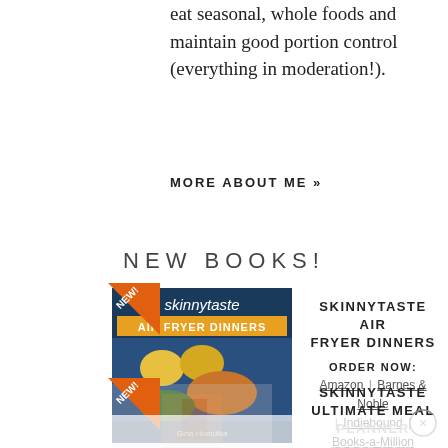eat seasonal, whole foods and maintain good portion control (everything in moderation!).
MORE ABOUT ME »
NEW BOOKS!
[Figure (photo): Book cover of Skinnytaste Air Fryer Dinners by Gina Homolka, with a NEW! badge on the top left corner]
SKINNYTASTE AIR FRYER DINNERS
ORDER NOW: Amazon | Barnes & Noble | Indiebound | Books-a-Million
[Figure (photo): Book cover of Skinnytaste Ultimate Meal Planner, partially visible, with a NEW! badge]
SKINNYTASTE ULTIMATE MEAL PLANNER
ORDER NOW: Barnes & Noble | Amazon